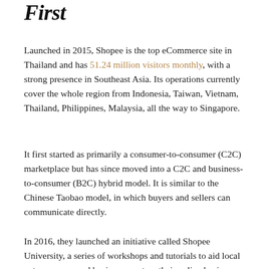First
Launched in 2015, Shopee is the top eCommerce site in Thailand and has 51.24 million visitors monthly, with a strong presence in Southeast Asia. Its operations currently cover the whole region from Indonesia, Taiwan, Vietnam, Thailand, Philippines, Malaysia, all the way to Singapore.
It first started as primarily a consumer-to-consumer (C2C) marketplace but has since moved into a C2C and business-to-consumer (B2C) hybrid model. It is similar to the Chinese Taobao model, in which buyers and sellers can communicate directly.
In 2016, they launched an initiative called Shopee University, a series of workshops and tutorials to aid local entrepreneurs and businesses set up their online businesses in